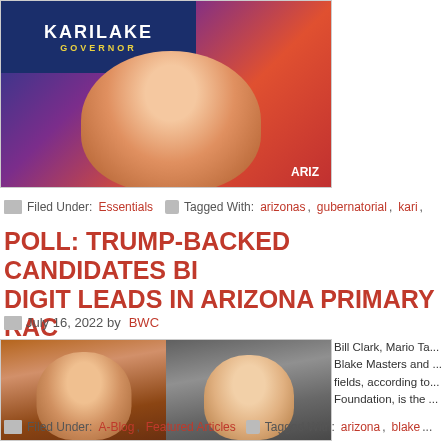[Figure (photo): Photo of Kari Lake at a campaign event with KARI LAKE GOVERNOR sign visible, woman with arms raised on stage with colorful background, ARIZ text visible]
Filed Under: Essentials   Tagged With: arizonas, gubernatorial, kari,
POLL: TRUMP-BACKED CANDIDATES BI... DIGIT LEADS IN ARIZONA PRIMARY RAC...
July 16, 2022 by BWC
[Figure (photo): Two portrait photos side by side: Blake Masters (man smiling) on left and a woman on right]
Bill Clark, Mario Ta... Blake Masters and ... fields, according to... Foundation, is the ...
Filed Under: A-Blog, Featured Articles   Tagged With: arizona, blake...